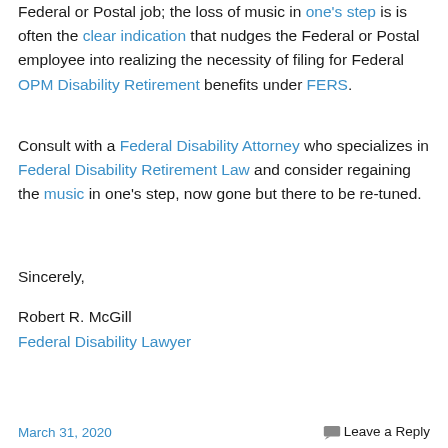Federal or Postal job; the loss of music in one's step is is often the clear indication that nudges the Federal or Postal employee into realizing the necessity of filing for Federal OPM Disability Retirement benefits under FERS.
Consult with a Federal Disability Attorney who specializes in Federal Disability Retirement Law and consider regaining the music in one's step, now gone but there to be re-tuned.
Sincerely,
Robert R. McGill
Federal Disability Lawyer
March 31, 2020    Leave a Reply